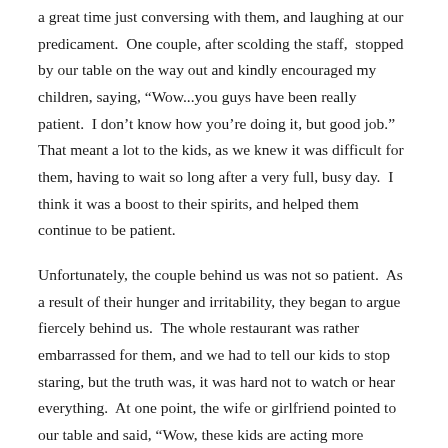a great time just conversing with them, and laughing at our predicament.  One couple, after scolding the staff,  stopped by our table on the way out and kindly encouraged my children, saying, “Wow...you guys have been really patient.  I don’t know how you’re doing it, but good job.”  That meant a lot to the kids, as we knew it was difficult for them, having to wait so long after a very full, busy day.  I think it was a boost to their spirits, and helped them continue to be patient.
Unfortunately, the couple behind us was not so patient.  As a result of their hunger and irritability, they began to argue fiercely behind us.  The whole restaurant was rather embarrassed for them, and we had to tell our kids to stop staring, but the truth was, it was hard not to watch or hear everything.  At one point, the wife or girlfriend pointed to our table and said, “Wow, these kids are acting more maturely